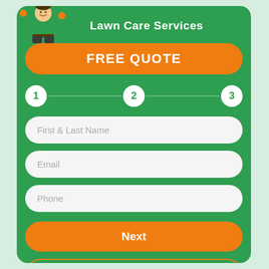[Figure (illustration): Lawn care mascot character — a person in green shirt and orange gloves with thumbs up]
Lawn Care Services
FREE QUOTE
[Figure (infographic): Three-step progress indicator with steps numbered 1, 2, 3 connected by lines]
First & Last Name
Email
Phone
Next
CALL US (704) 822-1625